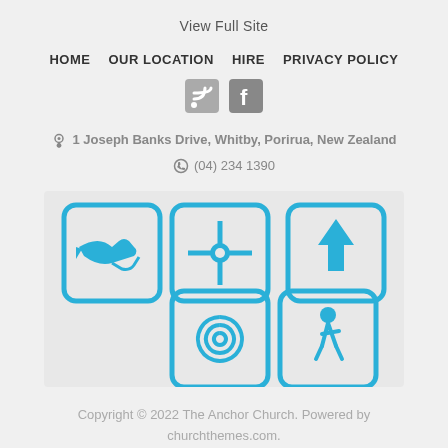View Full Site
HOME
OUR LOCATION
HIRE
PRIVACY POLICY
[Figure (infographic): RSS feed icon and Facebook icon in gray]
1 Joseph Banks Drive, Whitby, Porirua, New Zealand
(04) 234 1390
[Figure (infographic): Five blue rounded square icons: handshake, compass/cross, upload arrow, spiral, walking person]
Copyright © 2022 The Anchor Church. Powered by churchthemes.com.